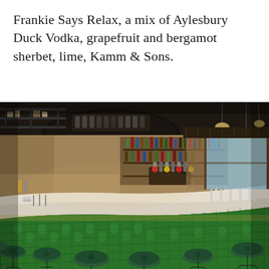Frankie Says Relax, a mix of Aylesbury Duck Vodka, grapefruit and bergamot sherbet, lime, Kamm & Sons.
[Figure (photo): Interior of a stylish bar with a curved counter featuring green mosaic tiles and white marble top, surrounded by dark green bar stools. The back wall shows brick, shelves with bottles, and pendant lighting. A large round black ceiling fixture is visible above the bar area.]